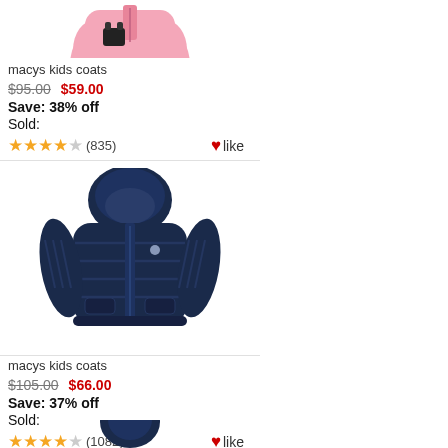[Figure (photo): Partial view of a pink kids coat at the top of the page]
macys kids coats
$95.00   $59.00
Save: 38% off
Sold:
★★★★½ (835)   ♥like
[Figure (photo): Navy blue puffer jacket with hood — kids coat product listing image]
macys kids coats
$105.00   $66.00
Save: 37% off
Sold:
★★★★½ (1082)   ♥like
[Figure (photo): Partial view of a navy blue kids coat at the bottom of the page]